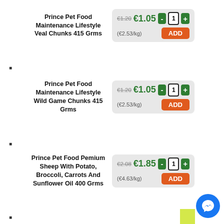Prince Pet Food Maintenance Lifestyle Veal Chunks 415 Grms
€1.20 €1.05 - 1 + (€2.53/kg) ADD
Prince Pet Food Maintenance Lifestyle Wild Game Chunks 415 Grms
€1.20 €1.05 - 1 + (€2.53/kg) ADD
Prince Pet Food Pemium Sheep With Potato, Broccoli, Carrots And Sunflower Oil 400 Grms
€2.08 €1.85 - 1 + (€4.63/kg) ADD